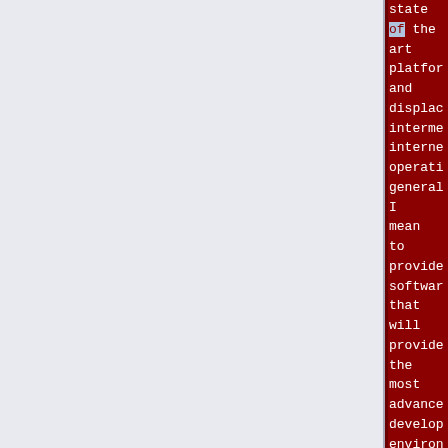state of the art platform and displace/disintermediate internet operations generally. I mean to provide software that will provide the most advanced development environment for <span class="plain links">[http://ai-integration.